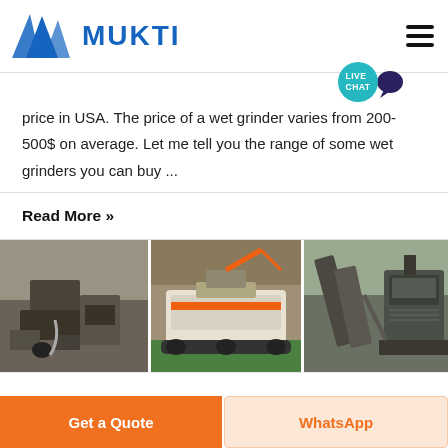[Figure (logo): MUKTI company logo with blue triangular mountain shapes and blue bold text 'MUKTI']
price in USA. The price of a wet grinder varies from 200-500$ on average. Let me tell you the range of some wet grinders you can buy ...
Read More »
[Figure (photo): Three industrial mining/crushing equipment photos side by side: left shows a crusher machine outdoors at a quarry, middle shows a tracked mobile crushing plant inside a warehouse, right shows an industrial conveyor/crusher setup outdoors.]
Get a Quote
WhatsApp